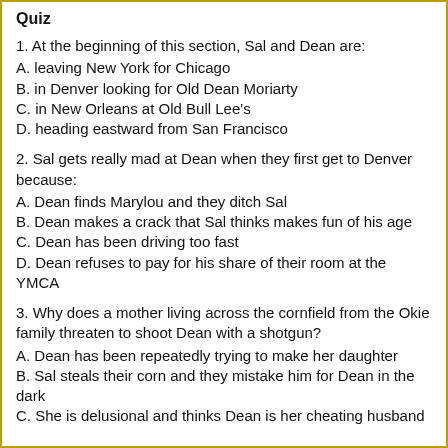Quiz
1. At the beginning of this section, Sal and Dean are:
A. leaving New York for Chicago
B. in Denver looking for Old Dean Moriarty
C. in New Orleans at Old Bull Lee's
D. heading eastward from San Francisco
2. Sal gets really mad at Dean when they first get to Denver because:
A. Dean finds Marylou and they ditch Sal
B. Dean makes a crack that Sal thinks makes fun of his age
C. Dean has been driving too fast
D. Dean refuses to pay for his share of their room at the YMCA
3. Why does a mother living across the cornfield from the Okie family threaten to shoot Dean with a shotgun?
A. Dean has been repeatedly trying to make her daughter
B. Sal steals their corn and they mistake him for Dean in the dark
C. She is delusional and thinks Dean is her cheating husband